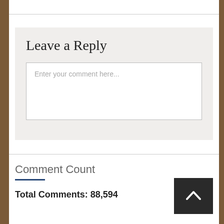Leave a Reply
Enter your comment here...
Comment Count
Total Comments: 88,594